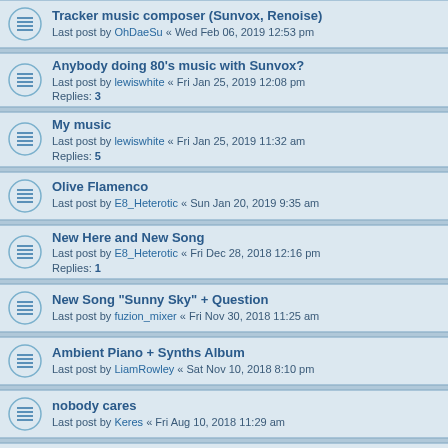Tracker music composer (Sunvox, Renoise)
Last post by OhDaeSu « Wed Feb 06, 2019 12:53 pm
Anybody doing 80's music with Sunvox?
Last post by lewiswhite « Fri Jan 25, 2019 12:08 pm
Replies: 3
My music
Last post by lewiswhite « Fri Jan 25, 2019 11:32 am
Replies: 5
Olive Flamenco
Last post by E8_Heterotic « Sun Jan 20, 2019 9:35 am
New Here and New Song
Last post by E8_Heterotic « Fri Dec 28, 2018 12:16 pm
Replies: 1
New Song "Sunny Sky" + Question
Last post by fuzion_mixer « Fri Nov 30, 2018 11:25 am
Ambient Piano + Synths Album
Last post by LiamRowley « Sat Nov 10, 2018 8:10 pm
nobody cares
Last post by Keres « Fri Aug 10, 2018 11:29 am
Salty ear food.
Last post by Saltbearer « Sat Mar 31, 2018 7:24 pm
Replies: 20
I Post New Songs Everyday on YouTube
Last post by chipthrasher « Sun Jan 22, 2017 4:51 am
Replies: 1